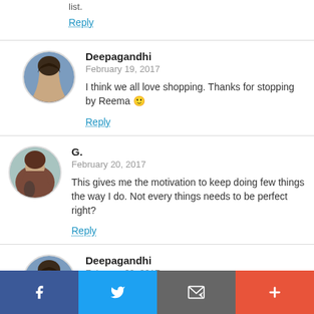list.
Reply
Deepagandhi
February 19, 2017
I think we all love shopping. Thanks for stopping by Reema 🙂
Reply
G.
February 20, 2017
This gives me the motivation to keep doing few things the way I do. Not every things needs to be perfect right?
Reply
Deepagandhi
February 20, 2017
[Figure (infographic): Social share bar with Facebook, Twitter, Email, and plus buttons]